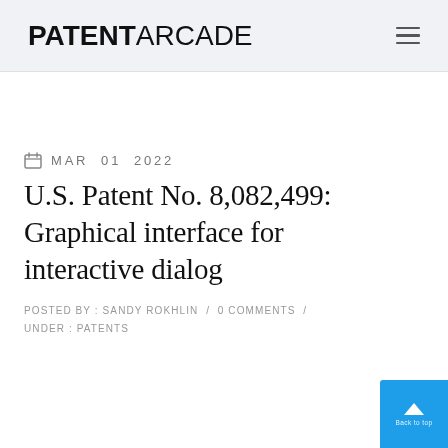PATENT ARCADE
MAR 01 2022
U.S. Patent No. 8,082,499: Graphical interface for interactive dialog
POSTED BY : SANDY ROKHLIN / 0 COMMENTS / UNDER : PATENTS